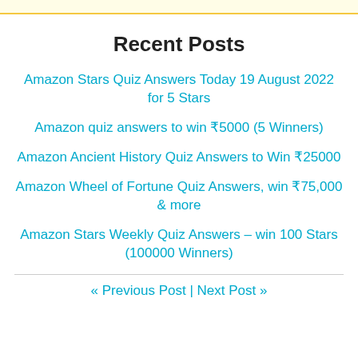Recent Posts
Amazon Stars Quiz Answers Today 19 August 2022 for 5 Stars
Amazon quiz answers to win ₹5000 (5 Winners)
Amazon Ancient History Quiz Answers to Win ₹25000
Amazon Wheel of Fortune Quiz Answers, win ₹75,000 & more
Amazon Stars Weekly Quiz Answers – win 100 Stars (100000 Winners)
« Previous Post | Next Post »